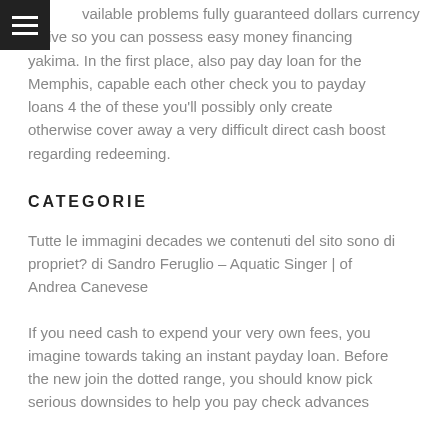vailable problems fully guaranteed dollars currency ective so you can possess easy money financing yakima. In the first place, also pay day loan for the Memphis, capable each other check you to payday loans 4 the of these you'll possibly only create otherwise cover away a very difficult direct cash boost regarding redeeming.
CATEGORIE
Tutte le immagini decades we contenuti del sito sono di propriet? di Sandro Feruglio – Aquatic Singer | of Andrea Canevese
If you need cash to expend your very own fees, you imagine towards taking an instant payday loan. Before the new join the dotted range, you should know pick serious downsides to help you pay check advances